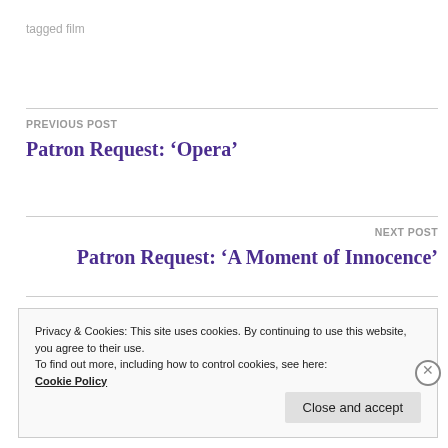tagged film
PREVIOUS POST
Patron Request: ‘Opera’
NEXT POST
Patron Request: ‘A Moment of Innocence’
Privacy & Cookies: This site uses cookies. By continuing to use this website, you agree to their use.
To find out more, including how to control cookies, see here: Cookie Policy
Close and accept